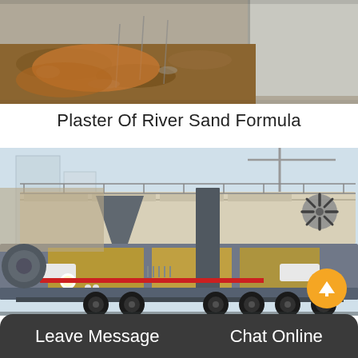[Figure (photo): Construction site photo showing excavation with dirt, gravel and concrete walls in background]
Plaster Of River Sand Formula
[Figure (photo): Mobile crushing/screening plant on a semi-trailer truck chassis parked at an industrial facility, showing conveyor belts, screening equipment and large industrial machinery]
Leave Message    Chat Online